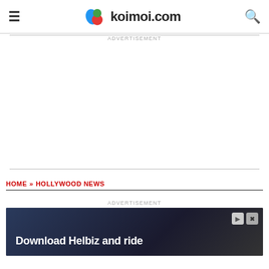koimoi.com
ADVERTISEMENT
HOME » HOLLYWOOD NEWS
ADVERTISEMENT
[Figure (photo): Download Helbiz and ride advertisement banner with person riding electric scooter in the background]